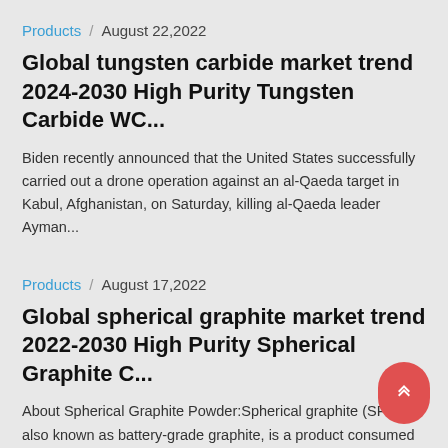Products / August 22,2022
Global tungsten carbide market trend 2024-2030 High Purity Tungsten Carbide WC...
Biden recently announced that the United States successfully carried out a drone operation against an al-Qaeda target in Kabul, Afghanistan, on Saturday, killing al-Qaeda leader Ayman...
Products / August 17,2022
Global spherical graphite market trend 2022-2030 High Purity Spherical Graphite C...
About Spherical Graphite Powder:Spherical graphite (SPG), also known as battery-grade graphite, is a product consumed anode in lithium-ion batteries. The flake graphite concent